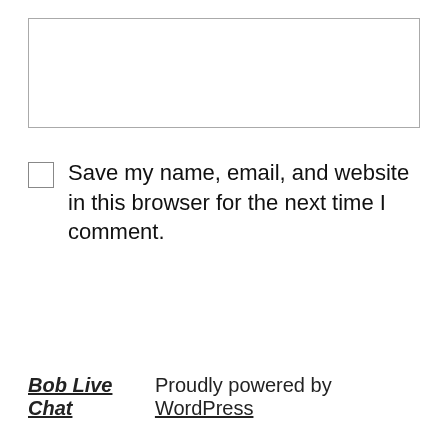[Figure (screenshot): Empty textarea input box with border]
Save my name, email, and website in this browser for the next time I comment.
Post Comment
Bob Live Chat    Proudly powered by WordPress